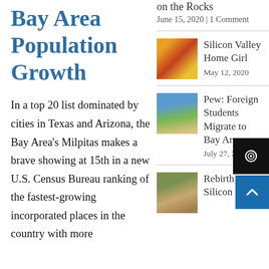Bay Area Population Growth
In a top 20 list dominated by cities in Texas and Arizona, the Bay Area's Milpitas makes a brave showing at 15th in a new U.S. Census Bureau ranking of the fastest-growing incorporated places in the country with more
on the Rocks
June 15, 2020 | 1 Comment
[Figure (photo): Yellow and red flower thumbnail]
Silicon Valley Home Girl
May 12, 2020
[Figure (photo): Building with green lawn and blue sky thumbnail]
Pew: Foreign Students Migrate to Bay Area
July 27, 2018
[Figure (photo): House with colorful facade thumbnail]
Rebirth in Silicon Valley